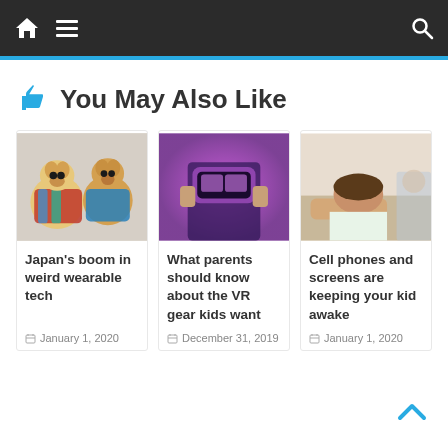Navigation bar with home icon, hamburger menu, and search icon
👍 You May Also Like
[Figure (photo): Two chihuahuas wearing colorful knitted outfits]
Japan's boom in weird wearable tech
January 1, 2020
[Figure (photo): Person holding a purple VR headset in front of their face in a pink/purple lit room]
What parents should know about the VR gear kids want
December 31, 2019
[Figure (photo): Child with head resting on arms on a desk, appearing to be asleep in a classroom]
Cell phones and screens are keeping your kid awake
January 1, 2020